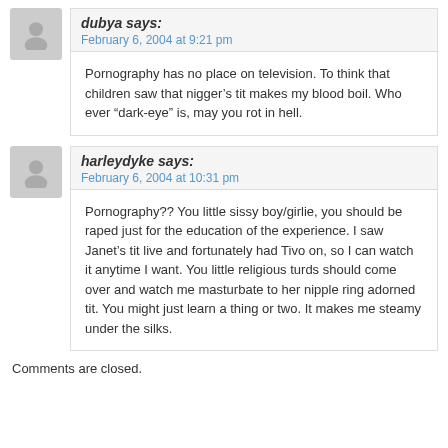dubya says:
February 6, 2004 at 9:21 pm
Pornography has no place on television. To think that children saw that nigger’s tit makes my blood boil. Who ever “dark-eye” is, may you rot in hell.
harleydyke says:
February 6, 2004 at 10:31 pm
Pornography?? You little sissy boy/girlie, you should be raped just for the education of the experience. I saw Janet’s tit live and fortunately had Tivo on, so I can watch it anytime I want. You little religious turds should come over and watch me masturbate to her nipple ring adorned tit. You might just learn a thing or two. It makes me steamy under the silks.
Comments are closed.